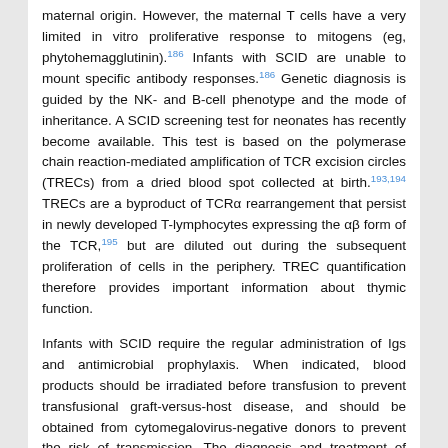maternal origin. However, the maternal T cells have a very limited in vitro proliferative response to mitogens (eg, phytohemagglutinin).186 Infants with SCID are unable to mount specific antibody responses.186 Genetic diagnosis is guided by the NK- and B-cell phenotype and the mode of inheritance. A SCID screening test for neonates has recently become available. This test is based on the polymerase chain reaction-mediated amplification of TCR excision circles (TRECs) from a dried blood spot collected at birth.193,194 TRECs are a byproduct of TCRα rearrangement that persist in newly developed T-lymphocytes expressing the αβ form of the TCR,195 but are diluted out during the subsequent proliferation of cells in the periphery. TREC quantification therefore provides important information about thymic function.
Infants with SCID require the regular administration of Igs and antimicrobial prophylaxis. When indicated, blood products should be irradiated before transfusion to prevent transfusional graft-versus-host disease, and should be obtained from cytomegalovirus-negative donors to prevent the risk of transmission. The diagnosis and treatment of infection should be prompt and aggressive. However, in the absence of prophylaxis, SCID is inevitably fatal within a few months, and patients do not survive beyond a few years in the absence of transplantation.185 Indeed, hematopoietic stem cell transplantation (HSCT) is the